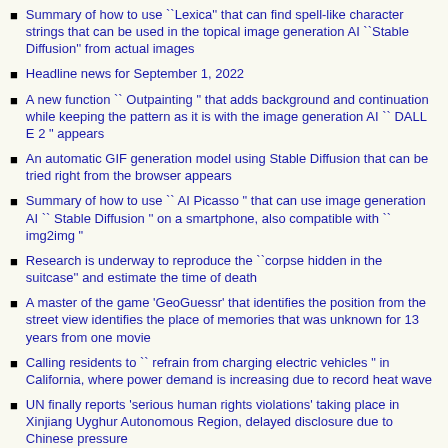Summary of how to use ``Lexica'' that can find spell-like character strings that can be used in the topical image generation AI ``Stable Diffusion'' from actual images
Headline news for September 1, 2022
A new function `` Outpainting " that adds background and continuation while keeping the pattern as it is with the image generation AI `` DALL E 2 " appears
An automatic GIF generation model using Stable Diffusion that can be tried right from the browser appears
Summary of how to use `` AI Picasso " that can use image generation AI `` Stable Diffusion '' on a smartphone, also compatible with `` img2img "
Research is underway to reproduce the ``corpse hidden in the suitcase'' and estimate the time of death
A master of the game 'GeoGuessr' that identifies the position from the street view identifies the place of memories that was unknown for 13 years from one movie
Calling residents to `` refrain from charging electric vehicles " in California, where power demand is increasing due to record heat wave
UN finally reports 'serious human rights violations' taking place in Xinjiang Uyghur Autonomous Region, delayed disclosure due to Chinese pressure